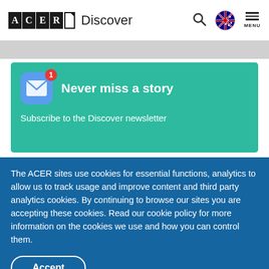ACER Discover
[Figure (screenshot): Gray navigation bar below header]
Never miss a story
Subscribe to the Discover newsletter
The ACER sites use cookies for essential functions, analytics to allow us to track usage and improve content and third party analytics cookies. By continuing to browse our sites you are accepting these cookies. Read our cookie policy for more information on the cookies we use and how you can control them.
Accept